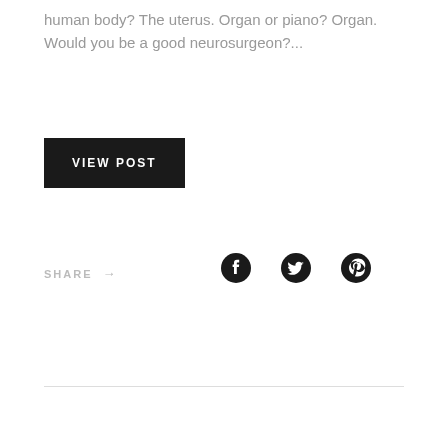human body? The uterus. Organ or piano? Organ. Would you be a good neurosurgeon?...
VIEW POST
SHARE →
[Figure (illustration): Social media share icons: Facebook, Twitter, Pinterest]